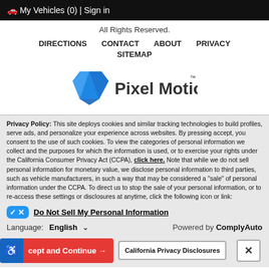🚗 My Vehicles (0) | Sign in
All Rights Reserved.
DIRECTIONS   CONTACT   ABOUT   PRIVACY   SITEMAP
[Figure (logo): Pixel Motion logo with blue geometric diamond shape and text 'Pixel Motion']
Privacy Policy: This site deploys cookies and similar tracking technologies to build profiles, serve ads, and personalize your experience across websites. By pressing accept, you consent to the use of such cookies. To view the categories of personal information we collect and the purposes for which the information is used, or to exercise your rights under the California Consumer Privacy Act (CCPA), click here. Note that while we do not sell personal information for monetary value, we disclose personal information to third parties, such as vehicle manufacturers, in such a way that may be considered a "sale" of personal information under the CCPA. To direct us to stop the sale of your personal information, or to re-access these settings or disclosures at anytime, click the following icon or link:
Do Not Sell My Personal Information
Language: English   Powered by ComplyAuto
Accept and Continue → | California Privacy Disclosures | ×